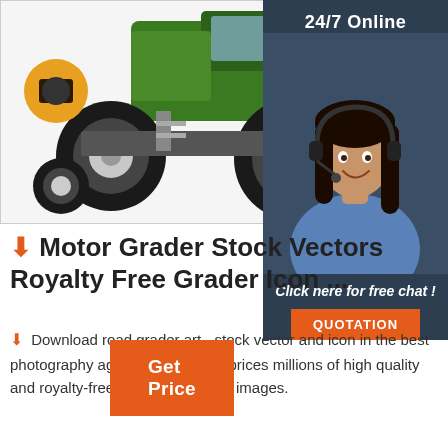[Figure (photo): Green motor grader / tractor with large black tires, shown from the front-left angle. There are yellow circular icons with text on left and right sides of the image.]
[Figure (photo): Customer service agent, a woman with dark hair wearing a headset and blue shirt, smiling. Dark navy background panel with '24/7 Online' text header, 'Click here for free chat!' italic text, and an orange QUOTATION button.]
⬇ Motor Grader Stock Vectors Royalty Free Grader Icon ...
⬇ Download road grader art - stock vector and icon in the best photography agency reasonable prices millions of high quality and royalty-free stock photos and images.
Get Price